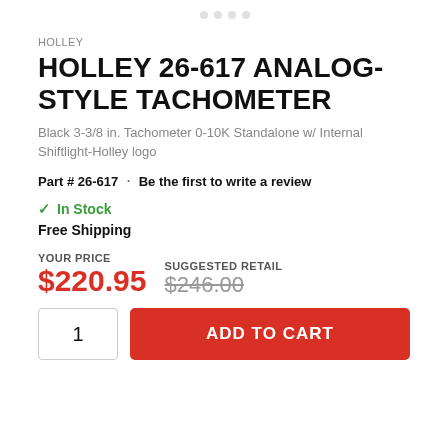HOLLEY
HOLLEY 26-617 ANALOG-STYLE TACHOMETER
Black 3-3/8 in. Tachometer 0-10K Standalone w/ Internal Shiftlight-Holley logo
Part # 26-617  •  Be the first to write a review
✓ In Stock
Free Shipping
YOUR PRICE  $220.95  SUGGESTED RETAIL  $246.00
1  ADD TO CART